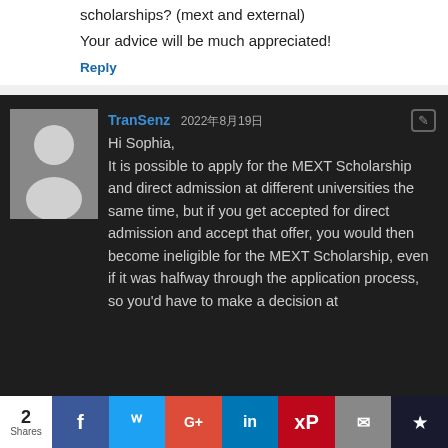scholarships? (mext and external)
Your advice will be much appreciated!
Reply
TranSenz 2022年8月19日
Hi Sophia,
It is possible to apply for the MEXT Scholarship and direct admission at different universities the same time, but if you get accepted for direct admission and accept that offer, you would then become ineligible for the MEXT Scholarship, even if it was halfway through the application process, so you'd have to make a decision at
2 Shares  f  t  G+  in  P  mail  bookmark